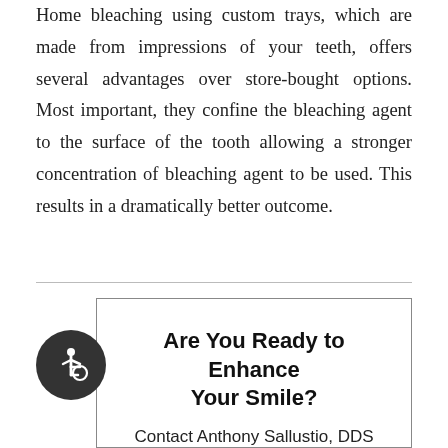Home bleaching using custom trays, which are made from impressions of your teeth, offers several advantages over store-bought options. Most important, they confine the bleaching agent to the surface of the tooth allowing a stronger concentration of bleaching agent to be used. This results in a dramatically better outcome.
Are You Ready to Enhance Your Smile?
Contact Anthony Sallustio, DDS with